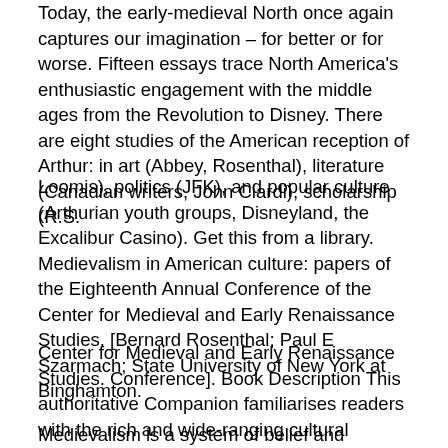Today, the early-medieval North once again captures our imagination – for better or for worse. Fifteen essays trace North America's enthusiastic engagement with the middle ages from the Revolution to Disney. There are eight studies of the American reception of Arthur: in art (Abbey, Rosenthal), literature (Canadian writers, John Ciardi), scholarship (R.S.
Loomis), politics (JFK), and popular culture (Arthurian youth groups, Disneyland, the Excalibur Casino). Get this from a library. Medievalism in American culture: papers of the Eighteenth Annual Conference of the Center for Medieval and Early Renaissance Studies. [Bernard Rosenthal; Paul E Szarmach; State University of New York at Binghamton.
Center for Medieval and Early Renaissance Studies. Conference]. Book Description This authoritative Companion familiarises readers with the rich and wide-ranging cultural phenomenon of medievalism, from sixteenth-century literature to twenty-first-century digital : Louise D'arcens.
Medievalism is a system of belief and practice